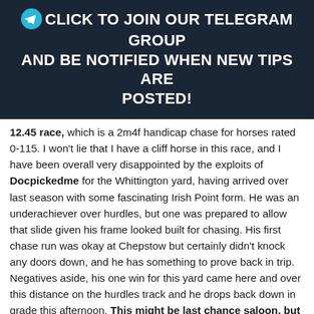🔵 CLICK TO JOIN OUR TELEGRAM GROUP AND BE NOTIFIED WHEN NEW TIPS ARE POSTED!
12.45 race, which is a 2m4f handicap chase for horses rated 0-115. I won't lie that I have a cliff horse in this race, and I have been overall very disappointed by the exploits of Docpickedme for the Whittington yard, having arrived over last season with some fascinating Irish Point form. He was an underachiever over hurdles, but one was prepared to allow that slide given his frame looked built for chasing. His first chase run was okay at Chepstow but certainly didn't knock any doors down, and he has something to prove back in trip. Negatives aside, his one win for this yard came here and over this distance on the hurdles track and he drops back down in grade this afternoon. This might be last chance saloon, but at a price of 11/2 with Bet365, I'll be backing him each way.
The final race of the day that I'll be looking at is the 2.55 race, which is a 2m4f novice hurdle and looks like a good race for this card. Given his bumper form and also a decent start over hurdles, I